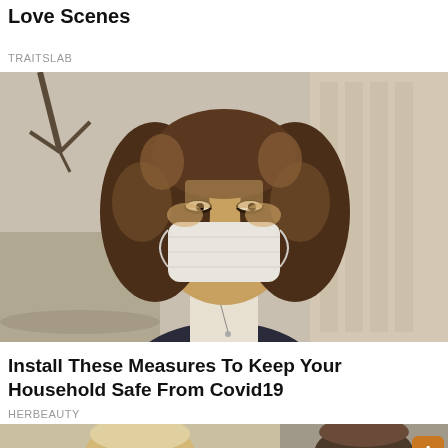Love Scenes
TRAITSLAB
[Figure (photo): Woman with curly hair wearing a white face mask, standing outdoors on a sunny street with blurred buildings in background]
Install These Measures To Keep Your Household Safe From Covid19
HERBEAUTY
[Figure (photo): Two partial photos side by side: left shows a blonde woman, right shows a dark-haired woman with an orange scroll-to-top button overlay]